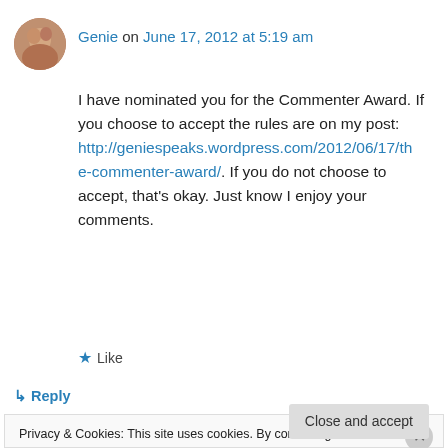[Figure (photo): Circular avatar photo of commenter Genie]
Genie on June 17, 2012 at 5:19 am
I have nominated you for the Commenter Award. If you choose to accept the rules are on my post: http://geniespeaks.wordpress.com/2012/06/17/the-commenter-award/. If you do not choose to accept, that's okay. Just know I enjoy your comments.
★ Like
↳ Reply
Privacy & Cookies: This site uses cookies. By continuing to use this website, you agree to their use.
To find out more, including how to control cookies, see here: Cookie Policy